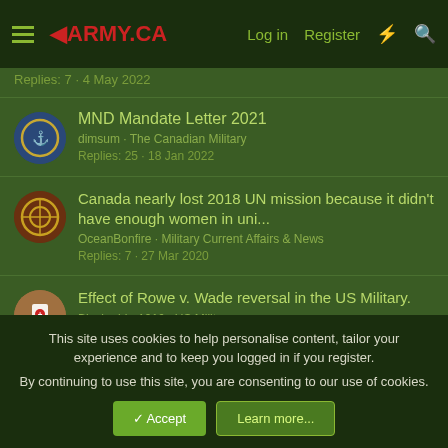army.ca — Log in | Register
Replies: 7 · 4 May 2022
MND Mandate Letter 2021
dimsum · The Canadian Military
Replies: 25 · 18 Jan 2022
Canada nearly lost 2018 UN mission because it didn't have enough women in uni...
OceanBonfire · Military Current Affairs & News
Replies: 7 · 27 Mar 2020
Effect of Rowe v. Wade reversal in the US Military.
Blackadder1916 · US Military
Replies: 27 · 4 Jul 2022
This site uses cookies to help personalise content, tailor your experience and to keep you logged in if you register.
By continuing to use this site, you are consenting to our use of cookies.
Accept | Learn more...